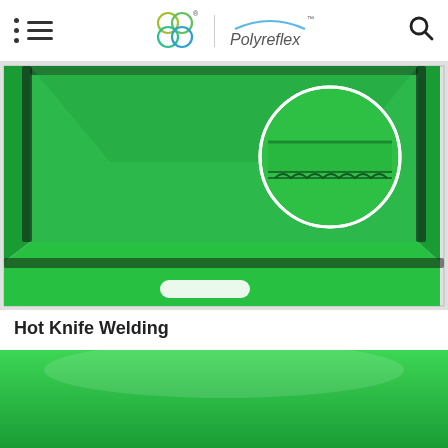Polyreflex
[Figure (photo): Green corrugated polypropylene plastic box/tray with hot knife welded edges, shown from above at an angle. A circular inset zooms into the welded corner joint detail showing the corrugated flute structure. The box has a rectangular handle cutout on the front face.]
Hot Knife Welding
[Figure (photo): Partial view of a green corrugated plastic sheet surface, cropped at the bottom of the page.]